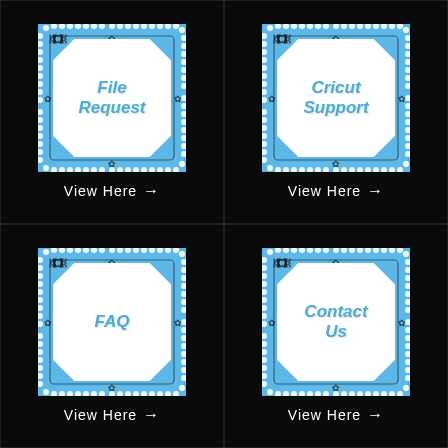[Figure (illustration): Decorative ornate tile button with pearl border and blue text reading 'File Request']
View Here →
[Figure (illustration): Decorative ornate tile button with pearl border and blue text reading 'Cricut Support']
View Here →
[Figure (illustration): Decorative ornate tile button with pearl border and blue text reading 'FAQ']
View Here →
[Figure (illustration): Decorative ornate tile button with pearl border and blue text reading 'Contact Us']
View Here →